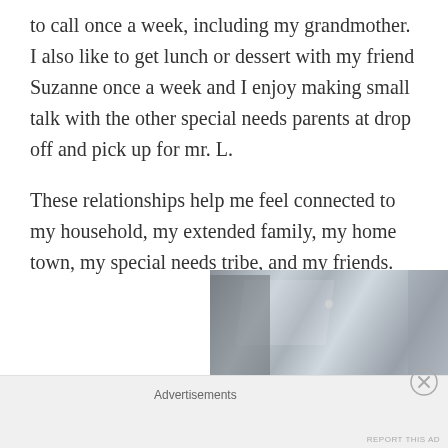to call once a week, including my grandmother. I also like to get lunch or dessert with my friend Suzanne once a week and I enjoy making small talk with the other special needs parents at drop off and pick up for mr. L.
These relationships help me feel connected to my household, my extended family, my home town, my special needs tribe, and my friends.
[Figure (photo): A partial photo showing what appears to be reflective metallic surfaces with light reflecting off them, likely an indoor scene with lights visible.]
Advertisements